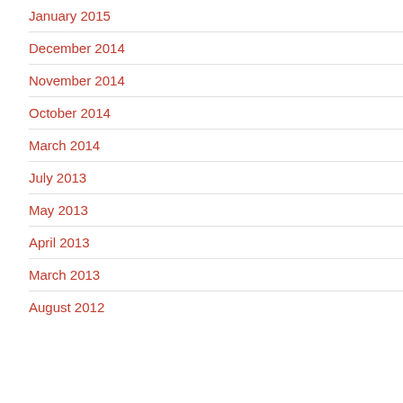January 2015
December 2014
November 2014
October 2014
March 2014
July 2013
May 2013
April 2013
March 2013
August 2012